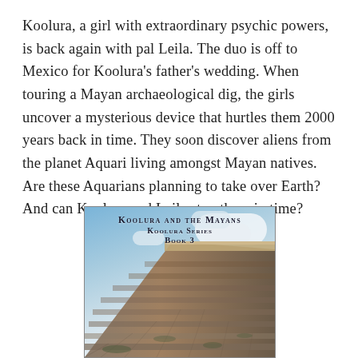Koolura, a girl with extraordinary psychic powers, is back again with pal Leila. The duo is off to Mexico for Koolura's father's wedding. When touring a Mayan archaeological dig, the girls uncover a mysterious device that hurtles them 2000 years back in time. They soon discover aliens from the planet Aquari living amongst Mayan natives. Are these Aquarians planning to take over Earth? And can Koolura and Leila stop them in time?
[Figure (photo): Book cover for 'Koolura and the Mayans, Koolura Series Book 3' showing a Mayan pyramid against a cloudy blue sky, viewed from a low angle.]